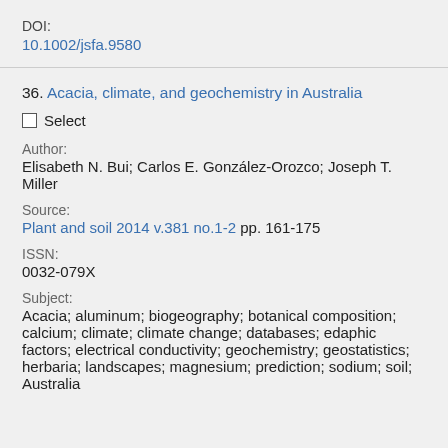DOI:
10.1002/jsfa.9580
36. Acacia, climate, and geochemistry in Australia
Select
Author:
Elisabeth N. Bui; Carlos E. González-Orozco; Joseph T. Miller
Source:
Plant and soil 2014 v.381 no.1-2 pp. 161-175
ISSN:
0032-079X
Subject:
Acacia; aluminum; biogeography; botanical composition; calcium; climate; climate change; databases; edaphic factors; electrical conductivity; geochemistry; geostatistics; herbaria; landscapes; magnesium; prediction; sodium; soil; Australia